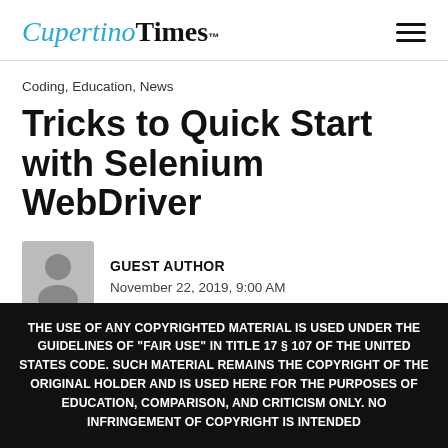Cupertino Times™
Coding, Education, News
Tricks to Quick Start with Selenium WebDriver
GUEST AUTHOR
November 22, 2019, 9:00 AM
Comments Off  🔥 678
THE USE OF ANY COPYRIGHTED MATERIAL IS USED UNDER THE GUIDELINES OF "FAIR USE" IN TITLE 17 § 107 OF THE UNITED STATES CODE. SUCH MATERIAL REMAINS THE COPYRIGHT OF THE ORIGINAL HOLDER AND IS USED HERE FOR THE PURPOSES OF EDUCATION, COMPARISON, AND CRITICISM ONLY. NO INFRINGEMENT OF COPYRIGHT IS INTENDED